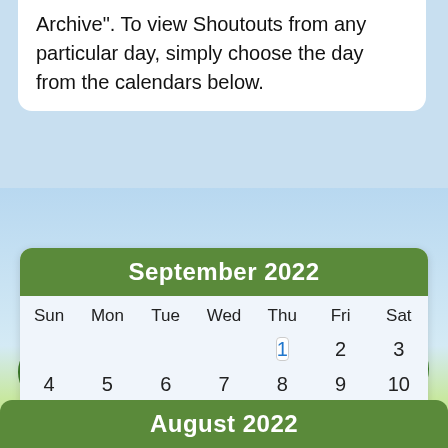Archive". To view Shoutouts from any particular day, simply choose the day from the calendars below.
[Figure (other): September 2022 calendar widget with green header, days of the week, and dates 1-30. Day 1 is highlighted in blue with a box border.]
August 2022